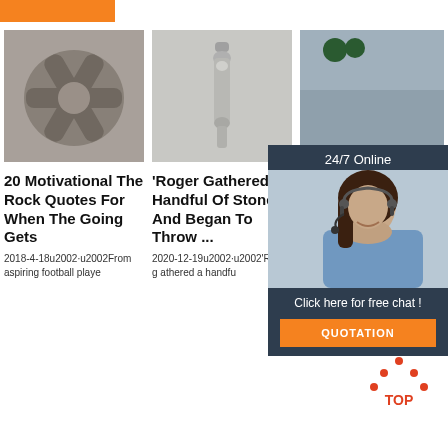[Figure (other): Orange horizontal bar at top left]
[Figure (photo): Metal spider/star-shaped mechanical part on grey background]
[Figure (photo): Metal bolt or pin component on white background]
[Figure (photo): 24/7 Online chat widget with woman wearing headset]
20 Motivational The Rock Quotes For When The Going Gets
'Roger Gathered A Handful Of Stones And Began To Throw ...
50 'Th Jo Qu Success (2021)
2018-4-18u2002·u2002From aspiring football playe
2020-12-19u2002·u2002'Roger gathered a handfu
2020-9-1u2002·u2002Looking for Dwayne Johns